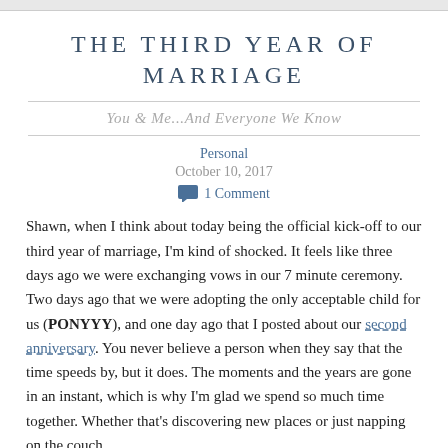THE THIRD YEAR OF MARRIAGE
You & Me...And Everyone We Know
Personal
October 10, 2017
1 Comment
Shawn, when I think about today being the official kick-off to our third year of marriage, I'm kind of shocked. It feels like three days ago we were exchanging vows in our 7 minute ceremony. Two days ago that we were adopting the only acceptable child for us (PONYYY), and one day ago that I posted about our second anniversary. You never believe a person when they say that the time speeds by, but it does. The moments and the years are gone in an instant, which is why I'm glad we spend so much time together. Whether that's discovering new places or just napping on the couch.